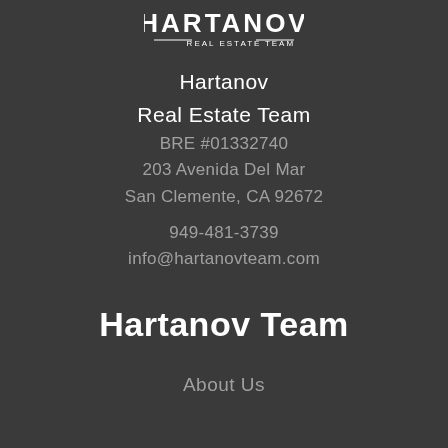[Figure (logo): Hartanov Real Estate Team logo with stylized text]
Hartanov
Real Estate Team
BRE #01332740
203 Avenida Del Mar
San Clemente, CA 92672
949-481-3739
info@hartanovteam.com
Hartanov Team
About Us